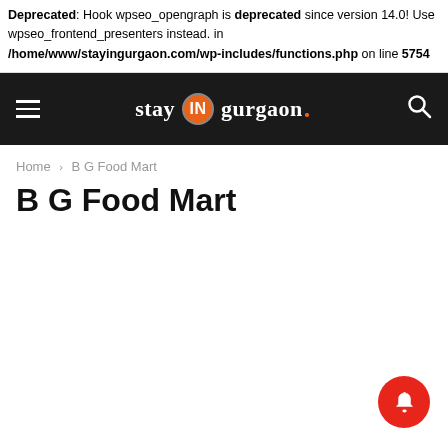Deprecated: Hook wpseo_opengraph is deprecated since version 14.0! Use wpseo_frontend_presenters instead. in /home/www/stayingurgaon.com/wp-includes/functions.php on line 5754
stay IN gurgaon
Home › B G Food Mart
B G Food Mart